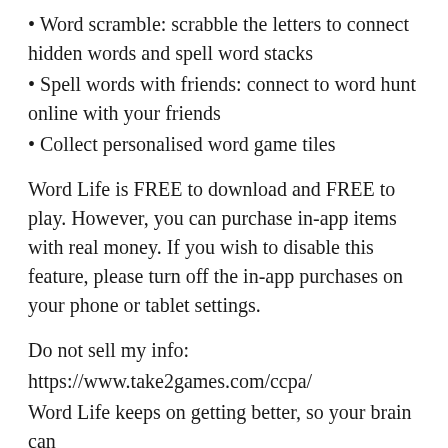• Word scramble: scrabble the letters to connect hidden words and spell word stacks
• Spell words with friends: connect to word hunt online with your friends
• Collect personalised word game tiles
Word Life is FREE to download and FREE to play. However, you can purchase in-app items with real money. If you wish to disable this feature, please turn off the in-app purchases on your phone or tablet settings.
Do not sell my info:
https://www.take2games.com/ccpa/
Word Life keeps on getting better, so your brain can